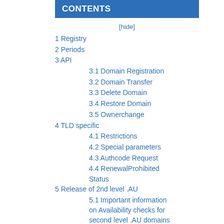CONTENTS
[hide]
1 Registry
2 Periods
3 API
3.1 Domain Registration
3.2 Domain Transfer
3.3 Delete Domain
3.4 Restore Domain
3.5 Ownerchange
4 TLD specific
4.1 Restrictions
4.2 Special parameters
4.3 Authcode Request
4.4 RenewalProhibited Status
5 Release of 2nd level .AU
5.1 Important information on Availability checks for second level .AU domains
5.2 Priority Registrations for Registrants of existing